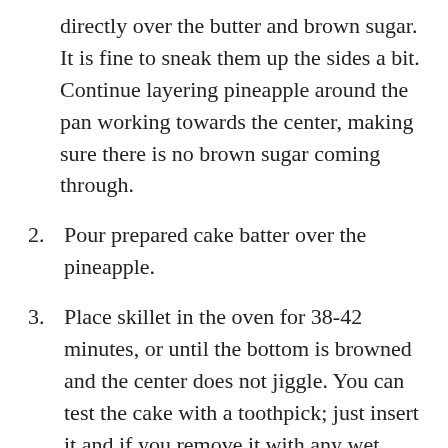directly over the butter and brown sugar. It is fine to sneak them up the sides a bit. Continue layering pineapple around the pan working towards the center, making sure there is no brown sugar coming through.
2. Pour prepared cake batter over the pineapple.
3. Place skillet in the oven for 38-42 minutes, or until the bottom is browned and the center does not jiggle. You can test the cake with a toothpick; just insert it and if you remove it with any wet batter, the cake is not done.
4. When the cake is done, remove from the oven and let sit for a couple of minutes. Take a large serving platter and place it face-down on the hot skillet. With one hand-held flat on the bottom of the platter and the other holding the handle of